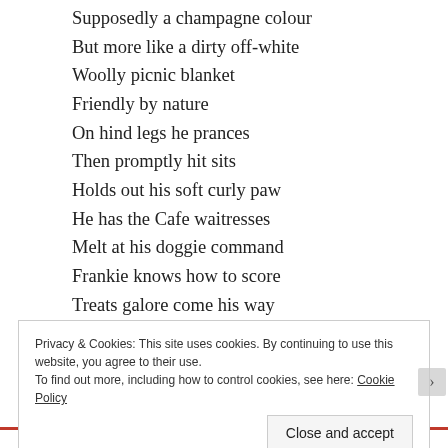Supposedly a champagne colour
But more like a dirty off-white
Woolly picnic blanket
Friendly by nature
On hind legs he prances
Then promptly hit sits
Holds out his soft curly paw
He has the Cafe waitresses
Melt at his doggie command
Frankie knows how to score
Treats galore come his way
He is a happy winner everyday
Privacy & Cookies: This site uses cookies. By continuing to use this website, you agree to their use.
To find out more, including how to control cookies, see here: Cookie Policy